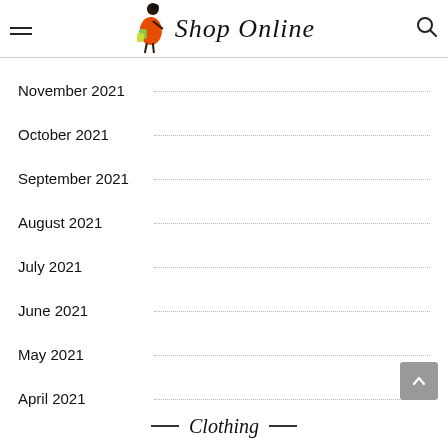Shop Online
November 2021
October 2021
September 2021
August 2021
July 2021
June 2021
May 2021
April 2021
Clothing